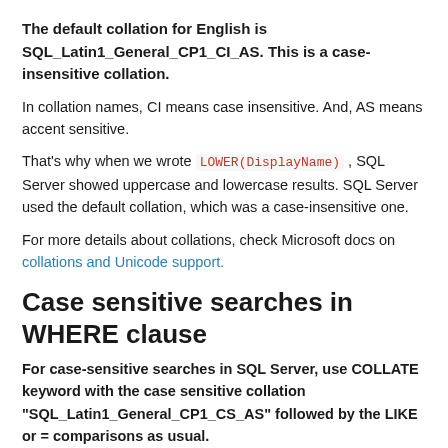The default collation for English is SQL_Latin1_General_CP1_CI_AS. This is a case-insensitive collation.
In collation names, CI means case insensitive. And, AS means accent sensitive.
That’s why when we wrote LOWER(DisplayName) , SQL Server showed uppercase and lowercase results. SQL Server used the default collation, which was a case-insensitive one.
For more details about collations, check Microsoft docs on collations and Unicode support.
Case sensitive searches in WHERE clause
For case-sensitive searches in SQL Server, use COLLATE keyword with the case sensitive collation “SQL_Latin1_General_CP1_CS_AS” followed by the LIKE or = comparisons as usual.